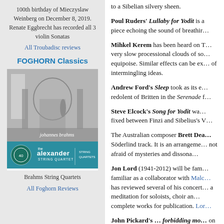100th birthday of Mieczyslaw Weinberg on December 8, 2019. Renate Eggbrecht has recorded all 3 violin Sonatas
All Troubadisc reviews
FOGHORN Classics
[Figure (photo): Album cover for Brahms String Quartets by the Alexander String Quartet on Foghorn Classics. Top: black and white photo of ornate hall interior. Bottom: teal band with Alexander String Quartet logo and text.]
Brahms String Quartets
All Foghorn Reviews
to a Sibelian silvery sheen.
Poul Ruders' Lullaby for Yodit is a piece echoing the sound of breathir...
Mihkel Kerem has been heard on T... very slow processional clouds of so... equipoise. Similar effects can be ex... of intermingling ideas.
Andrew Ford's Sleep took as its e... redolent of Britten in the Serenade f...
Steve Elcock's Song for Yodit wa... fixed between Finzi and Sibelius's V...
The Australian composer Brett Dea... Söderlind track. It is an arrangeme... not afraid of mysteries and dissona...
Jon Lord (1941-2012) will be fam... familiar as a collaborator with Malc... has reviewed several of his concert... a meditation for soloists, choir an... complete works for publication. Lor...
John Pickard's … forbidding mo... on Toccata (TOCC150). This work... silence. It's very masterly to have a...